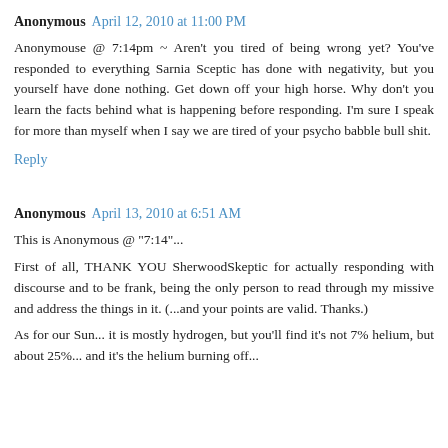Anonymous  April 12, 2010 at 11:00 PM
Anonymouse @ 7:14pm ~ Aren't you tired of being wrong yet? You've responded to everything Sarnia Sceptic has done with negativity, but you yourself have done nothing. Get down off your high horse. Why don't you learn the facts behind what is happening before responding. I'm sure I speak for more than myself when I say we are tired of your psycho babble bull shit.
Reply
Anonymous  April 13, 2010 at 6:51 AM
This is Anonymous @ "7:14"...
First of all, THANK YOU SherwoodSkeptic for actually responding with discourse and to be frank, being the only person to read through my missive and address the things in it. (...and your points are valid. Thanks.)
As for our Sun... it is mostly hydrogen, but you'll find it's not 7% helium, but about 25%... and it's the helium burning off...